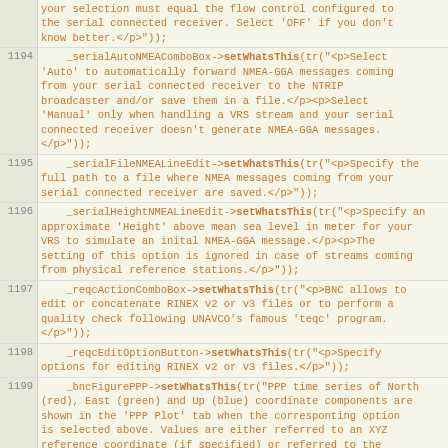Partial top row (continuation): your selection must equal the flow control configured to the serial connected receiver. Select 'OFF' if you don't know better.</p>"));
1194    _serialAutoNMEAComboBox->setWhatsThis(tr("<p>Select 'Auto' to automatically forward NMEA-GGA messages coming from your serial connected receiver to the NTRIP broadcaster and/or save them in a file.</p><p>Select 'Manual' only when handling a VRS stream and your serial connected receiver doesn't generate NMEA-GGA messages.</p>"));
1195    _serialFileNMEALineEdit->setWhatsThis(tr("<p>Specify the full path to a file where NMEA messages coming from your serial connected receiver are saved.</p>"));
1196    _serialHeightNMEALineEdit->setWhatsThis(tr("<p>Specify an approximate 'Height' above mean sea level in meter for your VRS to simulate an inital NMEA-GGA message.</p><p>The setting of this option is ignored in case of streams coming from physical reference stations.</p>"));
1197    _reqcActionComboBox->setWhatsThis(tr("<p>BNC allows to edit or concatenate RINEX v2 or v3 files or to perform a quality check following UNAVCO's famous 'teqc' program.</p>"));
1198    _reqcEditOptionButton->setWhatsThis(tr("<p>Specify options for editing RINEX v2 or v3 files.</p>"));
1199    _bncFigurePPP->setWhatsThis(tr("PPP time series of North (red), East (green) and Up (blue) coordinate components are shown in the 'PPP Plot' tab when the corresponting option is selected above. Values are either referred to an XYZ reference coordinate (if specified) or referred to the first estimated set of coordinate compoments. The sliding PPP time series window covers the period of the latest 5 minutes."));
1200    _cmbTable->setWhatsThis(tr("<p>BNC allows to process